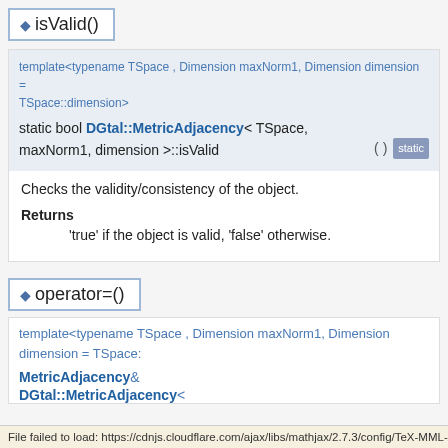isValid()
template<typename TSpace , Dimension maxNorm1, Dimension dimension = TSpace::dimension>
static bool DGtal::MetricAdjacency< TSpace, maxNorm1, dimension >::isValid ( ) [static]
Checks the validity/consistency of the object.
Returns
'true' if the object is valid, 'false' otherwise.
operator=()
template<typename TSpace , Dimension maxNorm1, Dimension dimension = TSpace::
MetricAdjacency& DGtal::MetricAdjacency<
File failed to load: https://cdnjs.cloudflare.com/ajax/libs/mathjax/2.7.3/config/TeX-MML-Al